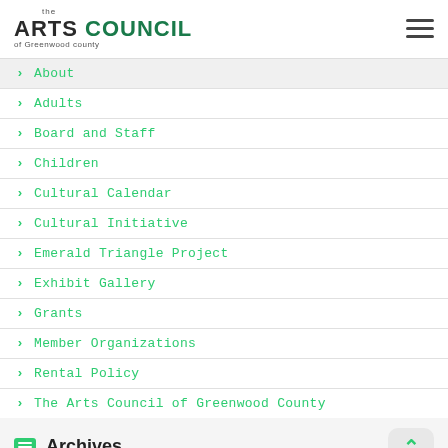the ARTS COUNCIL of Greenwood county
About
Adults
Board and Staff
Children
Cultural Calendar
Cultural Initiative
Emerald Triangle Project
Exhibit Gallery
Grants
Member Organizations
Rental Policy
The Arts Council of Greenwood County
Archives
Select Month